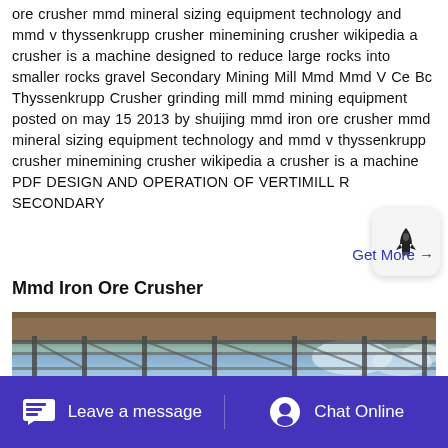ore crusher mmd mineral sizing equipment technology and mmd v thyssenkrupp crusher minemining crusher wikipedia a crusher is a machine designed to reduce large rocks into smaller rocks gravel Secondary Mining Mill Mmd Mmd V Ce Bc Thyssenkrupp Crusher grinding mill mmd mining equipment posted on may 15 2013 by shuijing mmd iron ore crusher mmd mineral sizing equipment technology and mmd v thyssenkrupp crusher minemining crusher wikipedia a crusher is a machine PDF DESIGN AND OPERATION OF VERTIMILL R SECONDARY
Get More →
Mmd Iron Ore Crusher
[Figure (photo): Photograph of an industrial structure with scaffolding and steel framework against a blue sky with clouds]
Leave a message   Chat Online